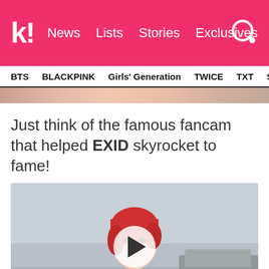k! News Lists Stories Exclusives
BTS BLACKPINK Girls' Generation TWICE TXT SEVE
Just think of the famous fancam that helped EXID skyrocket to fame!
[Figure (photo): Video thumbnail showing a person with red hair wearing a black leather jacket and white shirt, with a play button overlay circle in the center]